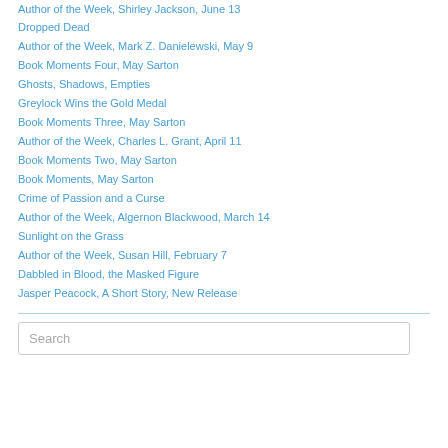Author of the Week, Shirley Jackson, June 13
Dropped Dead
Author of the Week, Mark Z. Danielewski, May 9
Book Moments Four, May Sarton
Ghosts, Shadows, Empties
Greylock Wins the Gold Medal
Book Moments Three, May Sarton
Author of the Week, Charles L. Grant, April 11
Book Moments Two, May Sarton
Book Moments, May Sarton
Crime of Passion and a Curse
Author of the Week, Algernon Blackwood, March 14
Sunlight on the Grass
Author of the Week, Susan Hill, February 7
Dabbled in Blood, the Masked Figure
Jasper Peacock, A Short Story, New Release
Search